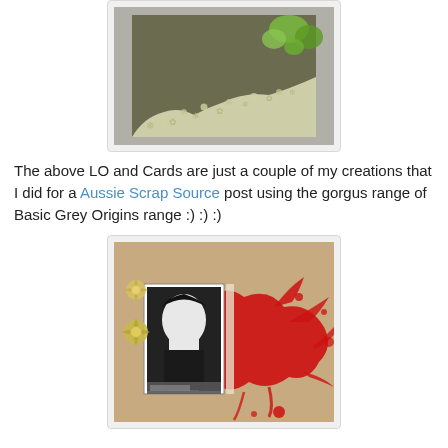[Figure (photo): A scrapbook card with green lace/floral die-cut border overlaid on a dark olive/brown background, set against a light grey background.]
The above LO and Cards are just a couple of my creations that I did for a Aussie Scrap Source post using the gorgus range of Basic Grey Origins range :) :) :)
[Figure (photo): A scrapbook layout on kraft/tan background with large red paint splatter design. Features a black and white photo of a woman with flower embellishments and vertical strips.]